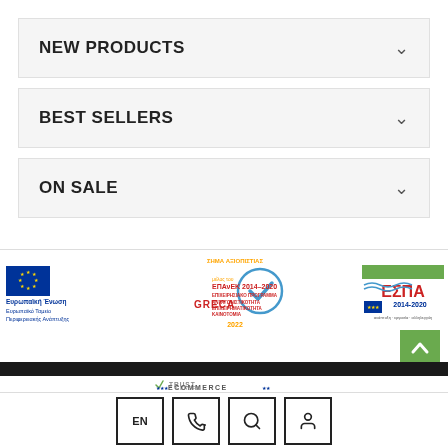NEW PRODUCTS
BEST SELLERS
ON SALE
[Figure (logo): Footer with EU logos, ESPA 2014-2020, EPAnEK 2014-2020, GRECA trust badge, and Trust Ecommerce Europe badge]
EN | phone | search | user icons navigation bar